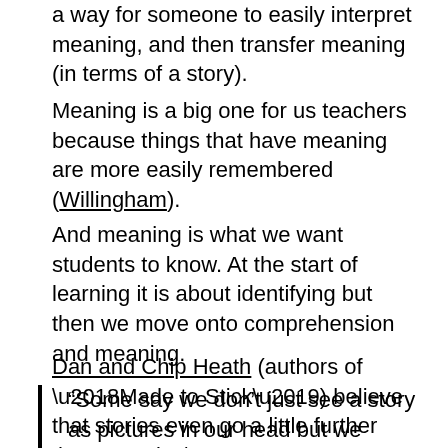a way for someone to easily interpret meaning, and then transfer meaning (in terms of a story).
Meaning is a big one for us teachers because things that have meaning are more easily remembered (Willingham).
And meaning is what we want students to know. At the start of learning it is about identifying but then we move onto comprehension and meaning.
Dan and Chip Heath (authors of ‘Made to Stick’) believe that stories even go a little further than meaning…
“Some say we don’t just see a story as pictures in our head but we actually simulate the story in